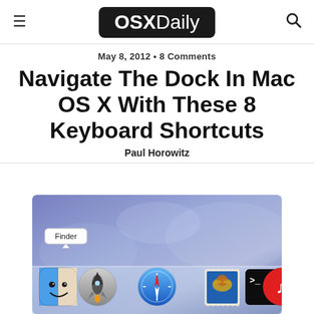OSXDaily
May 8, 2012 • 8 Comments
Navigate The Dock In Mac OS X With These 8 Keyboard Shortcuts
Paul Horowitz
[Figure (screenshot): Mac OS X Dock screenshot showing app icons including Finder (with tooltip), Rocket, Safari, Mail, Terminal, and iTunes on a blue/purple macOS desktop wallpaper background.]